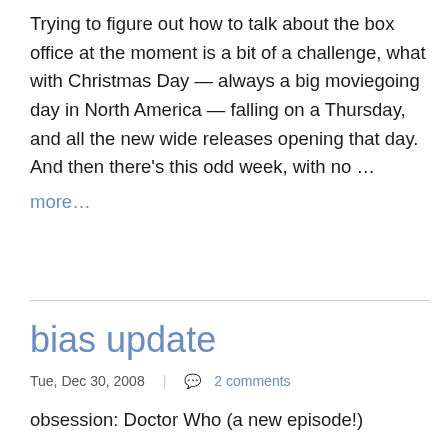Trying to figure out how to talk about the box office at the moment is a bit of a challenge, what with Christmas Day — always a big moviegoing day in North America — falling on a Thursday, and all the new wide releases opening that day. And then there's this odd week, with no …
more…
bias update
Tue, Dec 30, 2008 | 2 comments
obsession: Doctor Who (a new episode!)